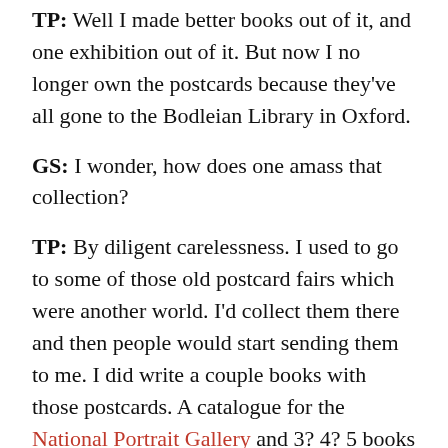TP: Well I made better books out of it, and one exhibition out of it. But now I no longer own the postcards because they've all gone to the Bodleian Library in Oxford.
GS: I wonder, how does one amass that collection?
TP: By diligent carelessness. I used to go to some of those old postcard fairs which were another world. I'd collect them there and then people would start sending them to me. I did write a couple books with those postcards. A catalogue for the National Portrait Gallery and 3? 4? 5 books produced by the Bodleian. I wasn't satisfied. I don't think I had enough life to do it because every turn I made had endless possibilities. And I already had enough work on hand.
GS: Well speaking of portraits, you've done around 100